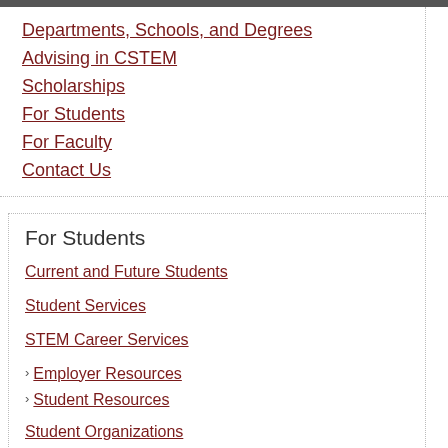Departments, Schools, and Degrees
Advising in CSTEM
Scholarships
For Students
For Faculty
Contact Us
For Students
Current and Future Students
Student Services
STEM Career Services
Employer Resources
Student Resources
Student Organizations